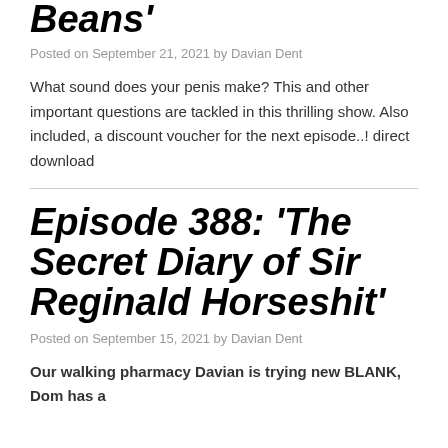Beans'
Posted on September 21, 2021 by Davian Dent
What sound does your penis make? This and other important questions are tackled in this thrilling show. Also included, a discount voucher for the next episode..! direct download
Episode 388: ‘The Secret Diary of Sir Reginald Horseshit’
Posted on September 15, 2021 by Davian Dent
Our walking pharmacy Davian is trying new BLANK, Dom has a